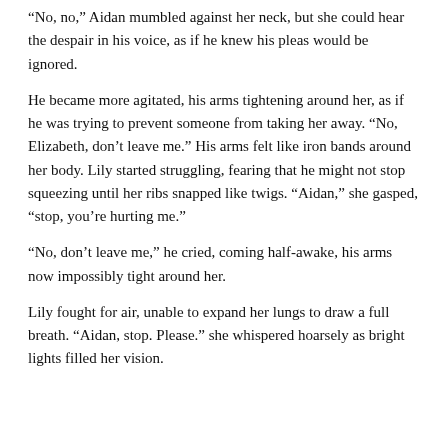“No, no,” Aidan mumbled against her neck, but she could hear the despair in his voice, as if he knew his pleas would be ignored.
He became more agitated, his arms tightening around her, as if he was trying to prevent someone from taking her away. “No, Elizabeth, don’t leave me.” His arms felt like iron bands around her body. Lily started struggling, fearing that he might not stop squeezing until her ribs snapped like twigs. “Aidan,” she gasped, “stop, you’re hurting me.”
“No, don’t leave me,” he cried, coming half-awake, his arms now impossibly tight around her.
Lily fought for air, unable to expand her lungs to draw a full breath. “Aidan, stop. Please.” she whispered hoarsely as bright lights filled her vision.